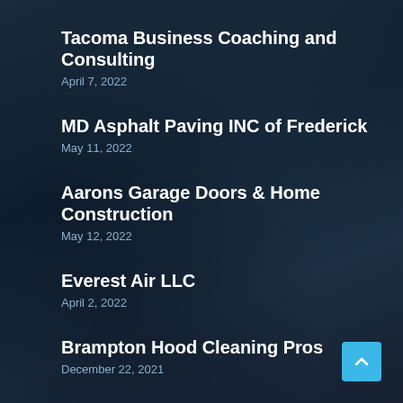Tacoma Business Coaching and Consulting
April 7, 2022
MD Asphalt Paving INC of Frederick
May 11, 2022
Aarons Garage Doors & Home Construction
May 12, 2022
Everest Air LLC
April 2, 2022
Brampton Hood Cleaning Pros
December 22, 2021